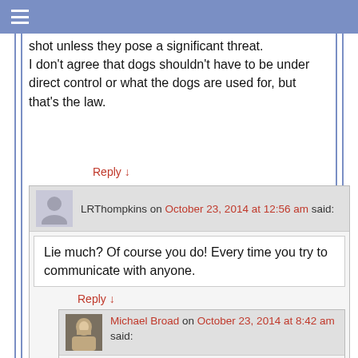shot unless they pose a significant threat. I don't agree that dogs shouldn't have to be under direct control or what the dogs are used for, but that's the law.
Reply ↓
LRThompkins on October 23, 2014 at 12:56 am said:
Lie much? Of course you do! Every time you try to communicate with anyone.
Reply ↓
Michael Broad on October 23, 2014 at 8:42 am said:
Don't call Dee a liar. Don't insult my colleagues and friends. Just state your case politely. It is sign of failure to do what you do.